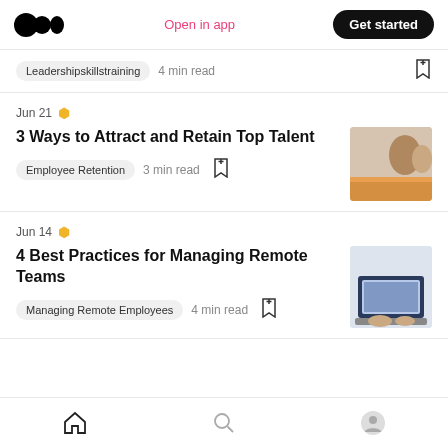Medium app header with logo, Open in app, Get started
Leadershipskillstraining · 4 min read
Jun 21
3 Ways to Attract and Retain Top Talent
Employee Retention · 3 min read
Jun 14
4 Best Practices for Managing Remote Teams
Managing Remote Employees · 4 min read
Home | Search | Profile nav bar